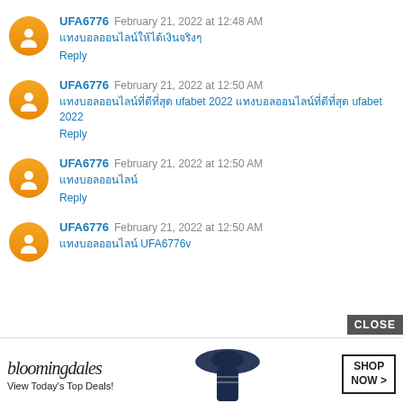UFA6776 February 21, 2022 at 12:48 AM
[Thai text] Reply
UFA6776 February 21, 2022 at 12:50 AM
[Thai text] ufabet 2022 [Thai text] ufabet 2022 Reply
UFA6776 February 21, 2022 at 12:50 AM
[Thai text] Reply
UFA6776 February 21, 2022 at 12:50 AM
[Thai text] UFA6776v
[Figure (screenshot): Bloomingdale's advertisement banner with text 'View Today's Top Deals!' and 'SHOP NOW >' button, with a woman in a hat]